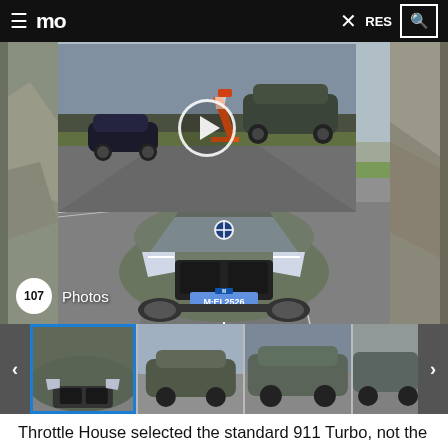≡ mo  ✕ RES 🔍
[Figure (photo): Main image of BMW M5 CS driving on road with front-facing view showing license plate M·EI 2526, with a video overlay showing two cars on a road with a play button, and photo counter showing 107 Photos]
[Figure (photo): Thumbnail strip showing 4 thumbnails of BMW M5 CS from various angles with left/right navigation arrows]
Throttle House selected the standard 911 Turbo, not the S, because the price was closer to the M5 CS in Competition...The BMW...